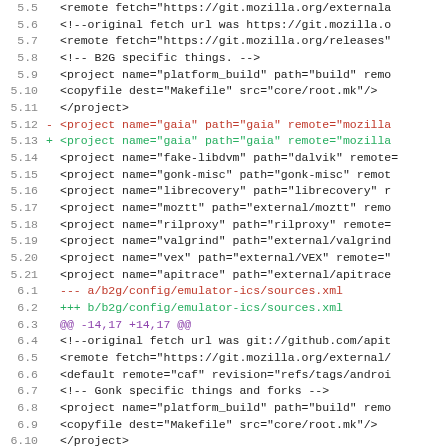Code diff showing changes to b2g/config sources.xml files with line numbers 5.5 through 6.16
[Figure (screenshot): Git diff output showing XML project configuration changes for B2G emulator sources, with red removed lines and green added lines for gaia project entries]